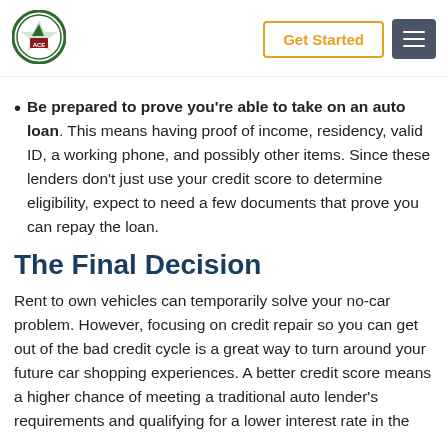ACE logo | Get Started | Menu
Be prepared to prove you're able to take on an auto loan. This means having proof of income, residency, valid ID, a working phone, and possibly other items. Since these lenders don't just use your credit score to determine eligibility, expect to need a few documents that prove you can repay the loan.
The Final Decision
Rent to own vehicles can temporarily solve your no-car problem. However, focusing on credit repair so you can get out of the bad credit cycle is a great way to turn around your future car shopping experiences. A better credit score means a higher chance of meeting a traditional auto lender's requirements and qualifying for a lower interest rate in the